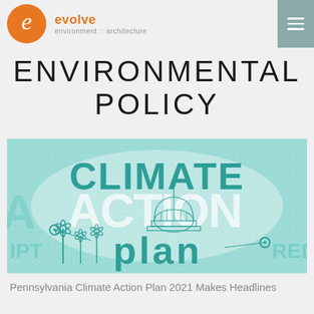evolve environment :: architecture
ENVIRONMENTAL POLICY
[Figure (illustration): Climate Action Plan illustrated banner with stylized text reading CLIMATE ACTION PLAN over a teal/turquoise background with a capitol building dome, wind turbines, and map outline of Pennsylvania]
Pennsylvania Climate Action Plan 2021 Makes Headlines